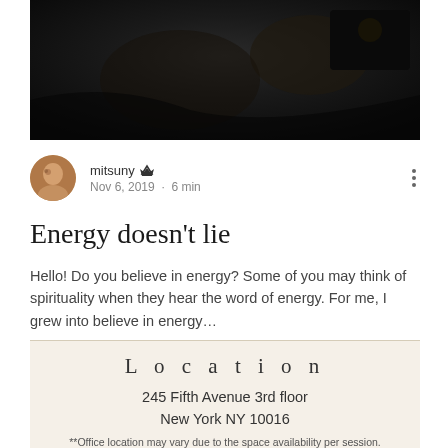[Figure (photo): Dark atmospheric photo at the top of the blog post, appears to show people or figures in low light]
mitsuny [crown icon] Nov 6, 2019 · 6 min
Energy doesn't lie
Hello! Do you believe in energy? Some of you may think of spirituality when they hear the word of energy. For me, I grew into believe in energy…
1 views  0 comments  [like button]
L o c a t i o n
245 Fifth Avenue 3rd floor
New York NY 10016
**Office location may vary due to the space availability per session.
**Online (Skype) sessions available**